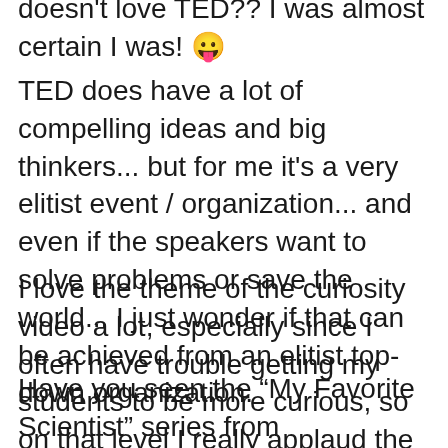doesn't love TED?? I was almost certain I was! 😛
TED does have a lot of compelling ideas and big thinkers... but for me it's a very elitist event / organization... and even if the speakers want to solve problems or save the world... I just wonder if that can be achieved from an elitist top-down organization.
I love the theme of the curiosity video a lot, especially since I often have trouble getting my students to be more curious, so on that level I really applaud the video.
Have you seen the “My Favorite Scientist” series from Nottingham Trent University? I love the Richard Feynman one because his parents, we are told, never asked him as a child “what did you learn in school today,” but instead they asked